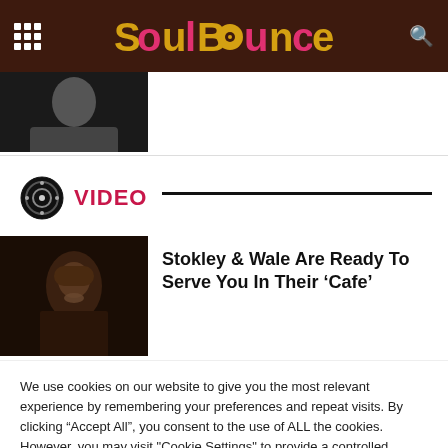SoulBounce
[Figure (photo): Black and white photo thumbnail at top left]
VIDEO
[Figure (photo): Dark photo of a woman with headwrap and sunglasses]
Stokley & Wale Are Ready To Serve You In Their ‘Cafe’
We use cookies on our website to give you the most relevant experience by remembering your preferences and repeat visits. By clicking “Accept All”, you consent to the use of ALL the cookies. However, you may visit "Cookie Settings" to provide a controlled consent.